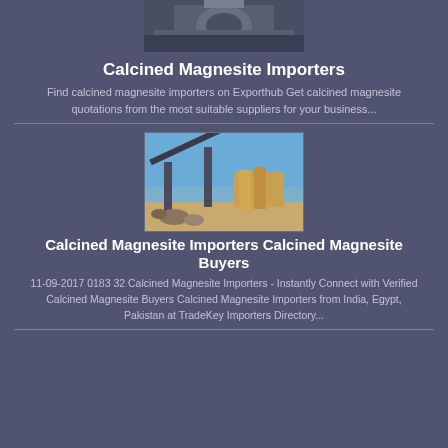[Figure (photo): Industrial equipment/machinery photo at top of page, partially visible]
Calcined Magnesite Importers
Find calcined magnesite importers on Exporthub Get calcined magnesite quotations from the most suitable suppliers for your business...
[Figure (photo): Outdoor industrial/mining or construction site with conveyor machinery and yellow equipment under blue sky]
Calcined Magnesite Importers Calcined Magnesite Buyers
11-09-2017 0183 32 Calcined Magnesite Importers - Instantly Connect with Verified Calcined Magnesite Buyers Calcined Magnesite Importers from India, Egypt, Pakistan at TradeKey Importers Directory...